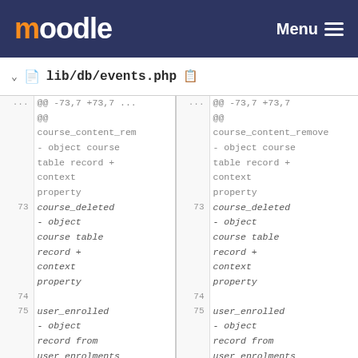[Figure (screenshot): Moodle navigation header with orange logo and Menu button]
lib/db/events.php
| line-left | code-left | line-right | code-right |
| --- | --- | --- | --- |
| ... | @@ -73,7 +73,7 ... | ... | @@ -73,7 +73,7 |
|  | @@ |  | @@ |
|  | course_content_rem... |  | course_content_remove... |
|  | - object course |  | - object course |
|  | table record + |  | table record + |
|  | context |  | context |
|  | property |  | property |
| 73 | course_deleted | 73 | course_deleted |
|  | - object |  | - object |
|  | course table |  | course table |
|  | record + |  | record + |
|  | context |  | context |
|  | property |  | property |
| 74 |  | 74 |  |
| 75 | user_enrolled | 75 | user_enrolled |
|  | - object |  | - object |
|  | record from |  | record from |
|  | user_enrolments |  | user_enrolments |
|  | - table + |  | - table ... |